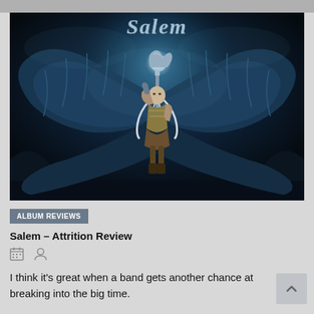[Figure (illustration): Album cover art for Salem – Attrition. Dark fantasy illustration showing a winged warrior woman with long white hair holding a large axe/hammer weapon aloft. Massive eagle wings spread wide. Dark blue atmospheric background with swirling smoke/energy. The word 'Salem' written in gothic metallic lettering at the top.]
ALBUM REVIEWS
Salem – Attrition Review
I think it's great when a band gets another chance at breaking into the big time.